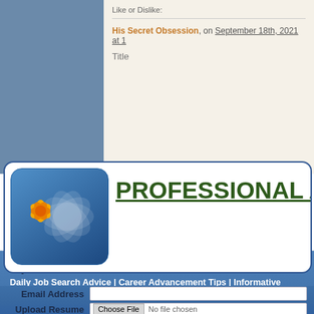Like or Dislike:
His Secret Obsession, on September 18th, 2021 at 1:
Title
PROFESSIONAL ADVI
Upload Your Resume and Get
Daily Job Search Advice | Career Advancement Tips | Informative Articles on Life Lessons And much more...
Email Address
Upload Resume   Choose File  No file chosen